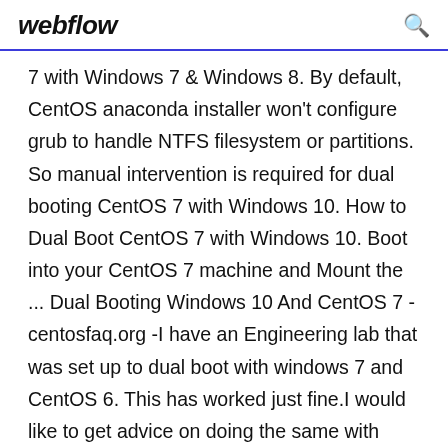webflow
7 with Windows 7 & Windows 8. By default, CentOS anaconda installer won't configure grub to handle NTFS filesystem or partitions. So manual intervention is required for dual booting CentOS 7 with Windows 10. How to Dual Boot CentOS 7 with Windows 10. Boot into your CentOS 7 machine and Mount the ... Dual Booting Windows 10 And CentOS 7 - centosfaq.org -I have an Engineering lab that was set up to dual boot with windows 7 and CentOS 6. This has worked just fine.I would like to get advice on doing the same with Dual boot: Windows 7 and CentOS 7 - Tutorial - Dedoimedo Extensive, step-by-step tutorial to installing and configuring Windows 7 and